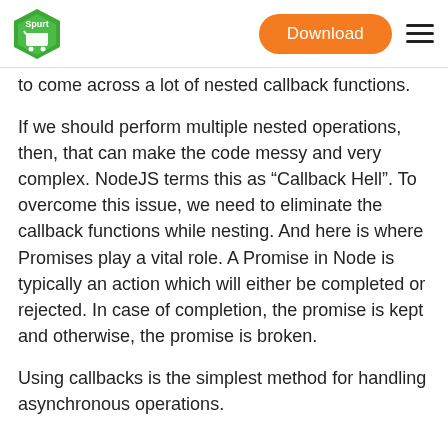Spurt [logo] | Download | Menu
to come across a lot of nested callback functions.
If we should perform multiple nested operations, then, that can make the code messy and very complex. NodeJS terms this as “Callback Hell”. To overcome this issue, we need to eliminate the callback functions while nesting. And here is where Promises play a vital role. A Promise in Node is typically an action which will either be completed or rejected. In case of completion, the promise is kept and otherwise, the promise is broken.
Using callbacks is the simplest method for handling asynchronous operations.